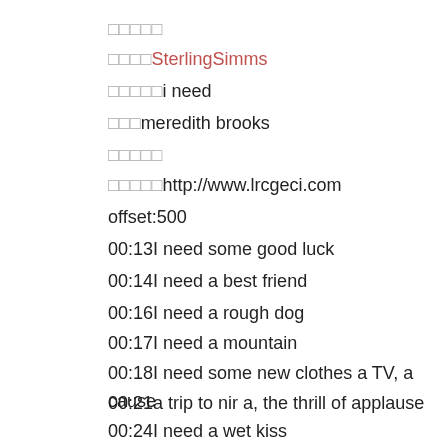□□□□□
□□□□SterlingSimms
□□□□□i need
□□□meredith brooks
□□□□□
□□□□□http://www.lrcgeci.com
offset:500
00:13I need some good luck
00:14I need a best friend
00:16I need a rough dog
00:17I need a mountain
00:18I need some new clothes a TV, a cause
00:21a trip to nir a, the thrill of applause
00:24I need a wet kiss
00:25I need to confess
00:27I need a vision, religion, the right to be silent